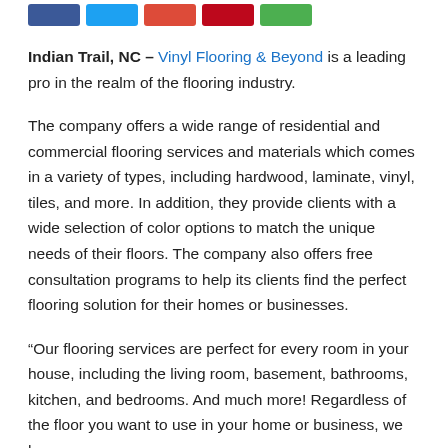[Figure (other): Social share buttons: Facebook (blue), Twitter (light blue), Google+ (red-orange), Pinterest (dark red), WhatsApp (green)]
Indian Trail, NC – Vinyl Flooring & Beyond is a leading pro in the realm of the flooring industry.
The company offers a wide range of residential and commercial flooring services and materials which comes in a variety of types, including hardwood, laminate, vinyl, tiles, and more. In addition, they provide clients with a wide selection of color options to match the unique needs of their floors. The company also offers free consultation programs to help its clients find the perfect flooring solution for their homes or businesses.
“Our flooring services are perfect for every room in your house, including the living room, basement, bathrooms, kitchen, and bedrooms. And much more! Regardless of the floor you want to use in your home or business, we have a